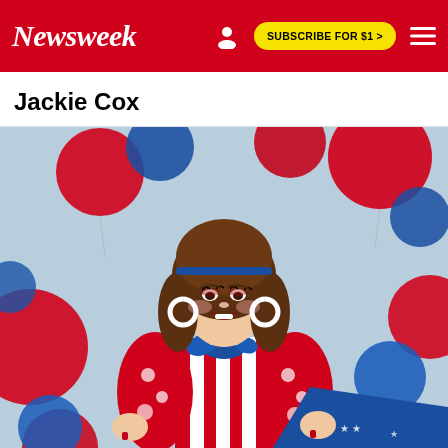Newsweek  SUBSCRIBE FOR $1 >
Jackie Cox
[Figure (photo): Jackie Cox, a drag queen, posed center-frame against a light blue background filled with floating red and blue balloons. She wears a brown bouffant wig with a blue headband, large white hoop earrings, a blue neckerchief, and a red-and-white striped outfit with a red floral patterned jacket and a blue star-printed skirt or cape. She poses with hands on hips, smiling.]